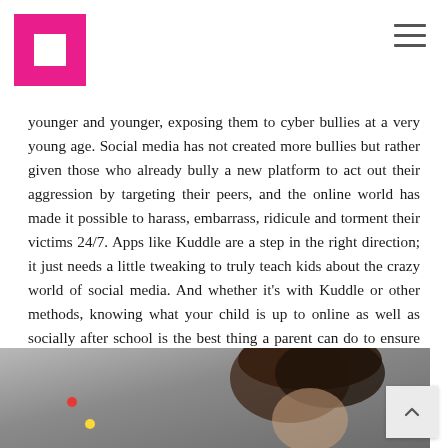[Logo: pink square with white square inside] [hamburger menu icon]
younger and younger, exposing them to cyber bullies at a very young age. Social media has not created more bullies but rather given those who already bully a new platform to act out their aggression by targeting their peers, and the online world has made it possible to harass, embarrass, ridicule and torment their victims 24/7. Apps like Kuddle are a step in the right direction; it just needs a little tweaking to truly teach kids about the crazy world of social media. And whether it’s with Kuddle or other methods, knowing what your child is up to online as well as socially after school is the best thing a parent can do to ensure that their child is both practicing good “netiquette” and isn’t becoming a victim to bullying, on or off the grid.
[Figure (photo): Partial photo of a child with dark hair against a grey/muted background, with a small red dot and yellow dot visible in the lower-left area of the image.]